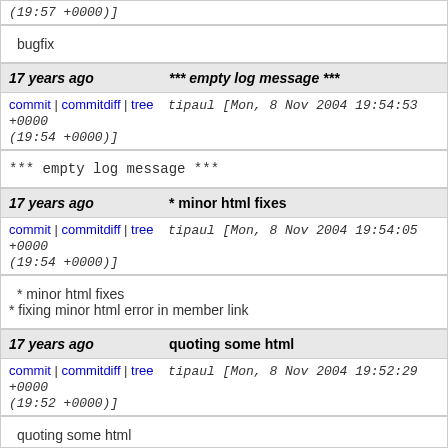(19:57 +0000)]
bugfix
17 years ago *** empty log message ***
commit | commitdiff | tree   tipaul [Mon, 8 Nov 2004 19:54:53 +0000 (19:54 +0000)]
*** empty log message ***
17 years ago * minor html fixes
commit | commitdiff | tree   tipaul [Mon, 8 Nov 2004 19:54:05 +0000 (19:54 +0000)]
* minor html fixes
* fixing minor html error in member link
17 years ago quoting some html
commit | commitdiff | tree   tipaul [Mon, 8 Nov 2004 19:52:29 +0000 (19:52 +0000)]
quoting some html
17 years ago *** empty log message ***